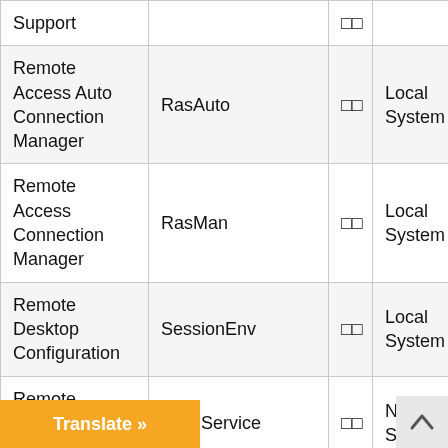| Service Name | Short Name | Start Type | Log On As |
| --- | --- | --- | --- |
| Support |  | □□ |  |
| Remote Access Auto Connection Manager | RasAuto | □□ | Local System |
| Remote Access Connection Manager | RasMan | □□ | Local System |
| Remote Desktop Configuration | SessionEnv | □□ | Local System |
| Remote Desktop Services | TermService | □□ | Network Service |
| Remote Desktop Services UserMode Port Redirector | UmRdpService | □□ | Local System |
| Remote Procedure | RpcSs | □□ | Network Servi |